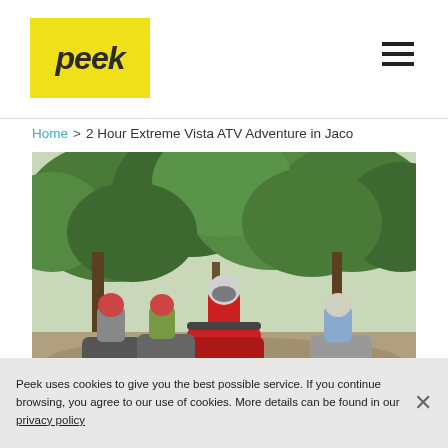peek
Home > 2 Hour Extreme Vista ATV Adventure in Jaco
[Figure (photo): Group of people riding ATVs through a muddy river crossing surrounded by dense tropical jungle vegetation. The lead rider wears a red long-sleeve shirt and helmet. Other riders visible behind on either side.]
Peek uses cookies to give you the best possible service. If you continue browsing, you agree to our use of cookies. More details can be found in our privacy policy